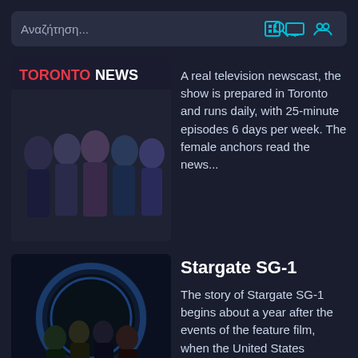[Figure (screenshot): Search bar with Greek placeholder text 'Αναζήτηση...' and icons for search, save, screen, and people on a dark background]
[Figure (photo): TV show thumbnail image showing female anchors with 'TORONTO NEWS' text overlay]
A real television newscast, the show is prepared in Toronto and runs daily, with 25-minute episodes 6 days per week. The female anchors read the news...
Stargate SG-1
[Figure (photo): Stargate SG-1 movie/show poster with cast members and 'STARGATE SG-1' text at bottom]
The story of Stargate SG-1 begins about a year after the events of the feature film, when the United States government learns that an ancient alien...